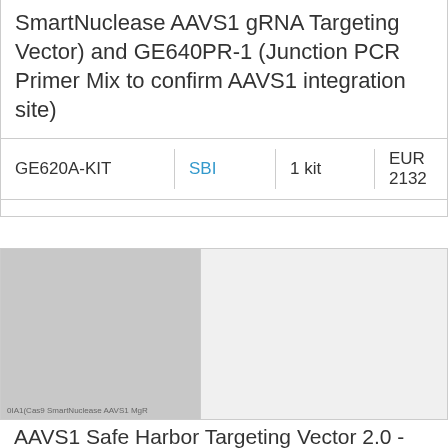SmartNuclease AAVS1 gRNA Targeting Vector) and GE640PR-1 (Junction PCR Primer Mix to confirm AAVS1 integration site)
| Catalog | Supplier | Qty | Price |
| --- | --- | --- | --- |
| GE620A-KIT | SBI | 1 kit | EUR 2132 |
[Figure (photo): Product image placeholder for AAVS1 Safe Harbor Targeting Vector 2.0 kit, gray placeholder with small text label]
AAVS1 Safe Harbor Targeting Vector 2.0 - GOI Knock-in Donor (AAVS1-SA-puro-EF1-MCS), Complete Kit with CAS601A-1 (Cas9 SmartNuclease AAVS1